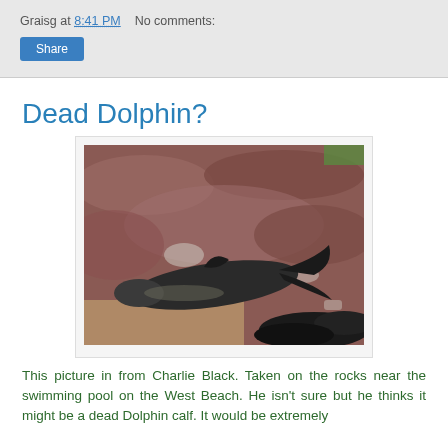Graisg at 8:41 PM   No comments:
Share
Dead Dolphin?
[Figure (photo): Photo of what appears to be a dead dolphin calf lying on dark reddish rocks near a beach, taken from above. The animal is dark-colored and lies flat on the rock surface.]
This picture in from Charlie Black. Taken on the rocks near the swimming pool on the West Beach. He isn't sure but he thinks it might be a dead Dolphin calf. It would be extremely